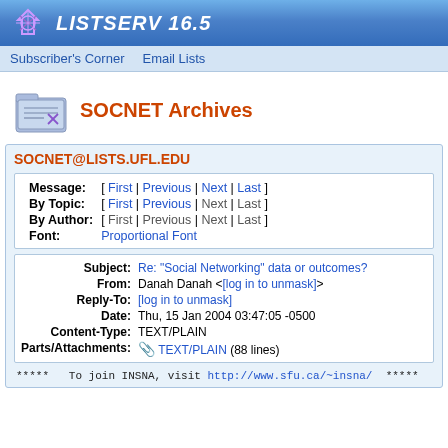LISTSERV 16.5
Subscriber's Corner  Email Lists
SOCNET Archives
SOCNET@LISTS.UFL.EDU
| Message: | [ First | Previous | Next | Last ] |
| By Topic: | [ First | Previous | Next | Last ] |
| By Author: | [ First | Previous | Next | Last ] |
| Font: | Proportional Font |
| Subject: | Re: "Social Networking" data or outcomes? |
| From: | Danah Danah <[log in to unmask]> |
| Reply-To: | [log in to unmask] |
| Date: | Thu, 15 Jan 2004 03:47:05 -0500 |
| Content-Type: | TEXT/PLAIN |
| Parts/Attachments: | TEXT/PLAIN (88 lines) |
*****   To join INSNA, visit http://www.sfu.ca/~insna/   *****